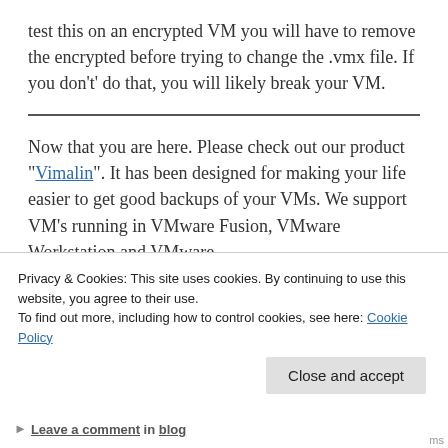test this on an encrypted VM you will have to remove the encrypted before trying to change the .vmx file. If you don't' do that, you will likely break your VM.
Now that you are here. Please check out our product "Vimalin". It has been designed for making your life easier to get good backups of your VMs. We support VM's running in VMware Fusion, VMware Workstation and VMware
Privacy & Cookies: This site uses cookies. By continuing to use this website, you agree to their use.
To find out more, including how to control cookies, see here: Cookie Policy
Leave a comment in blog